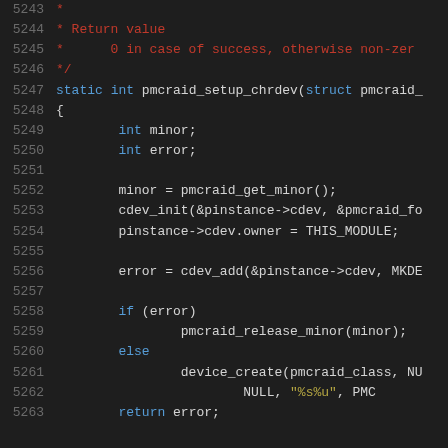[Figure (screenshot): Source code snippet showing lines 5243-5263 of a C file with syntax highlighting. Dark background editor theme. Shows a function pmcraid_setup_chrdev with comments, variable declarations, and logic for setting up a character device.]